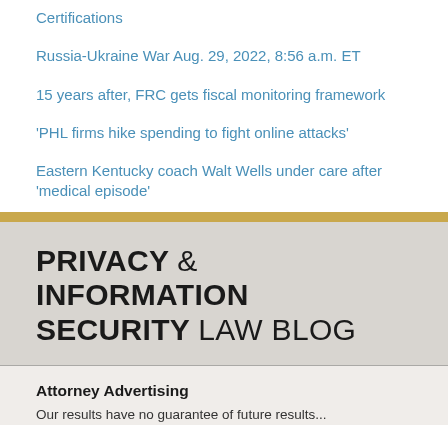Certifications
Russia-Ukraine War Aug. 29, 2022, 8:56 a.m. ET
15 years after, FRC gets fiscal monitoring framework
'PHL firms hike spending to fight online attacks'
Eastern Kentucky coach Walt Wells under care after 'medical episode'
PRIVACY & INFORMATION SECURITY LAW BLOG
Attorney Advertising
Our results have no guarantee of future results...